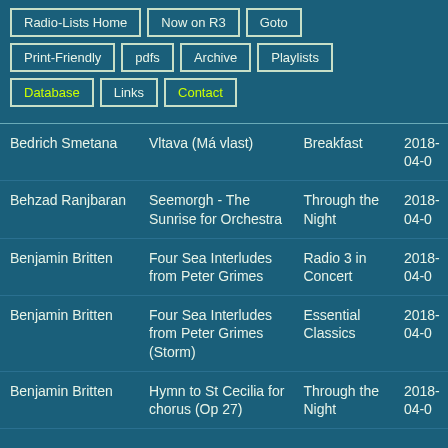Radio-Lists Home
Now on R3
Goto
Print-Friendly
pdfs
Archive
Playlists
Database
Links
Contact
| Composer | Work | Programme | Date |
| --- | --- | --- | --- |
| Bedrich Smetana | Vltava (Má vlast) | Breakfast | 2018-04-0 |
| Behzad Ranjbaran | Seemorgh - The Sunrise for Orchestra | Through the Night | 2018-04-0 |
| Benjamin Britten | Four Sea Interludes from Peter Grimes | Radio 3 in Concert | 2018-04-0 |
| Benjamin Britten | Four Sea Interludes from Peter Grimes (Storm) | Essential Classics | 2018-04-0 |
| Benjamin Britten | Hymn to St Cecilia for chorus (Op 27) | Through the Night | 2018-04-0 |